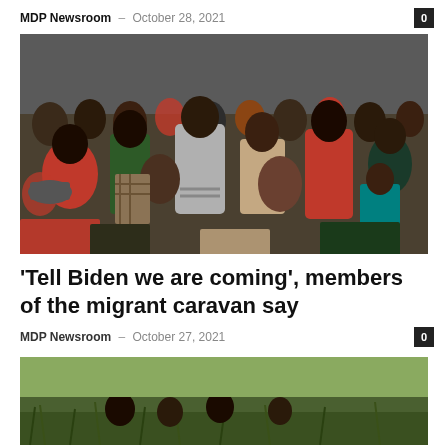MDP Newsroom – October 28, 2021
[Figure (photo): Large crowd of people, mostly young men, packed tightly together outdoors]
'Tell Biden we are coming', members of the migrant caravan say
MDP Newsroom – October 27, 2021
[Figure (photo): People in a grassy field, partial view cut off at bottom of page]